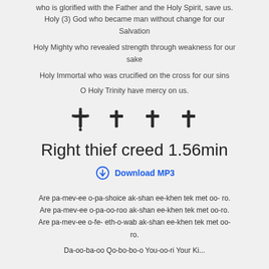who is glorified with the Father and the Holy Spirit, save us. Holy (3) God who became man without change for our Salvation
Holy Mighty who revealed strength through weakness for our sake
Holy Immortal who was crucified on the cross for our sins
O Holy Trinity have mercy on us.
[Figure (illustration): Four decorative cross symbols in a row]
Right thief creed 1.56min
Download MP3
Are pa-mev-ee o-pa-shoice ak-shan ee-khen tek met oo- ro.
Are pa-mev-ee o-pa-oo-roo ak-shan ee-khen tek met oo-ro.
Are pa-mev-ee o-fe- eth-o-wab ak-shan ee-khen tek met oo-ro.
Da-oo-ba-oo Qo-bo-bo-o You-oo-ri Your Ki...